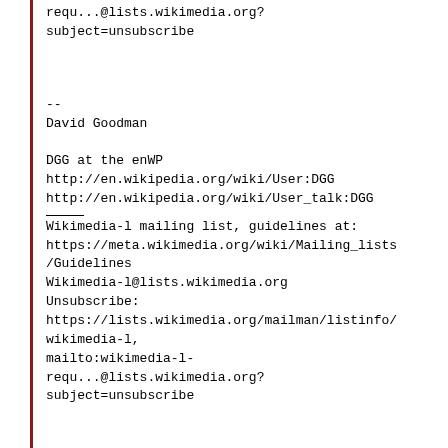requ...@lists.wikimedia.org?
subject=unsubscribe
--
David Goodman

DGG at the enWP
http://en.wikipedia.org/wiki/User:DGG
http://en.wikipedia.org/wiki/User_talk:DGG
Wikimedia-l mailing list, guidelines at:
https://meta.wikimedia.org/wiki/Mailing_lists/Guidelines
Wikimedia-l@lists.wikimedia.org
Unsubscribe:
https://lists.wikimedia.org/mailman/listinfo/wikimedia-l,
mailto:wikimedia-l-requ...@lists.wikimedia.org?
subject=unsubscribe